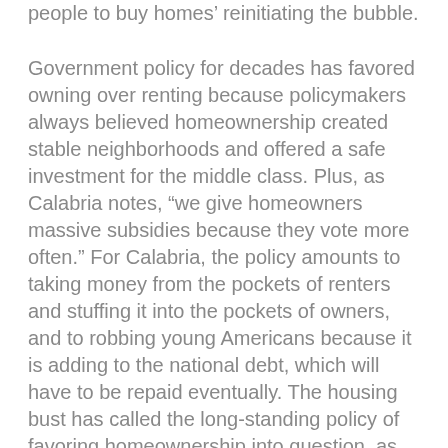people to buy homes  reinitiating the bubble.
Government policy for decades has favored owning over renting because policymakers always believed homeownership created stable neighborhoods and offered a safe investment for the middle class. Plus, as Calabria notes, “we give homeowners massive subsidies because they vote more often.” For Calabria, the policy amounts to taking money from the pockets of renters and stuffing it into the pockets of owners, and to robbing young Americans because it is adding to the national debt, which will have to be repaid eventually. The housing bust has called the long-standing policy of favoring homeownership into question, as millions of Americans owe more on their homes than they are worth, leaving owners trapped and unable to move to another city to find a better job.
Economists say even with brisk sales of late, encouraged in part by the tax credit, the real